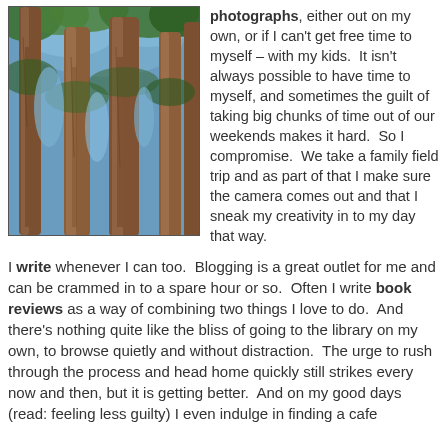[Figure (photo): Looking up through tall forest trees (redwoods or similar) with brown bark trunks against a blue sky with green canopy, HDR photograph style]
photographs, either out on my own, or if I can't get free time to myself – with my kids.  It isn't always possible to have time to myself, and sometimes the guilt of taking big chunks of time out of our weekends makes it hard.  So I compromise.  We take a family field trip and as part of that I make sure the camera comes out and that I sneak my creativity in to my day that way.
I write whenever I can too.  Blogging is a great outlet for me and can be crammed in to a spare hour or so.  Often I write book reviews as a way of combining two things I love to do.  And there's nothing quite like the bliss of going to the library on my own, to browse quietly and without distraction.  The urge to rush through the process and head home quickly still strikes every now and then, but it is getting better.  And on my good days (read: feeling less guilty) I even indulge in finding a cafe